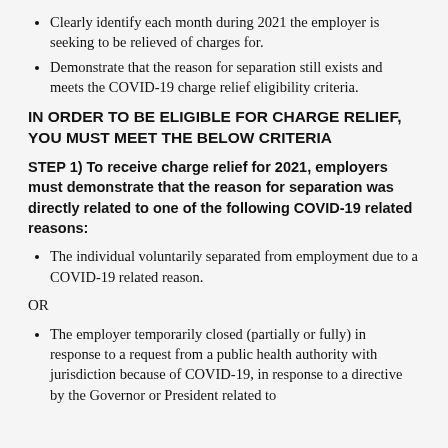Clearly identify each month during 2021 the employer is seeking to be relieved of charges for.
Demonstrate that the reason for separation still exists and meets the COVID-19 charge relief eligibility criteria.
IN ORDER TO BE ELIGIBLE FOR CHARGE RELIEF, YOU MUST MEET THE BELOW CRITERIA
STEP 1) To receive charge relief for 2021, employers must demonstrate that the reason for separation was directly related to one of the following COVID-19 related reasons:
The individual voluntarily separated from employment due to a COVID-19 related reason.
OR
The employer temporarily closed (partially or fully) in response to a request from a public health authority with jurisdiction because of COVID-19, in response to a directive by the Governor or President related to